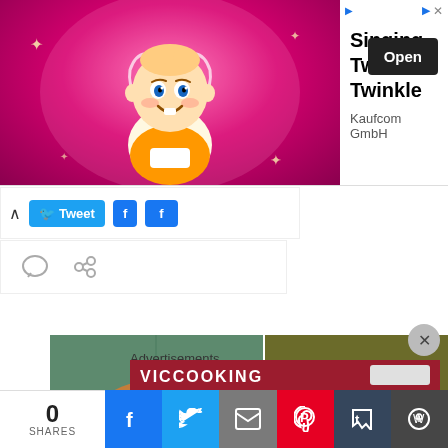[Figure (screenshot): Advertisement banner: animated baby character on pink background with text 'Singing Twinkle Twinkle', publisher 'Kaufcom GmbH', and Open button]
[Figure (screenshot): Social share toolbar with up caret, Tweet button, and Facebook share buttons]
[Figure (screenshot): Icon row with comment bubble and link icons]
[Figure (screenshot): Image grid showing food/craft thumbnails including cookies, Link Party pumpkin graphic, Happiness text, cinnamon rolls, and Mermo partial text]
Advertisements
[Figure (screenshot): Partial advertisement image at bottom]
0 SHARES
[Figure (screenshot): Bottom social sharing bar with Facebook, Twitter, Email, Pinterest, Tumblr, WordPress buttons]